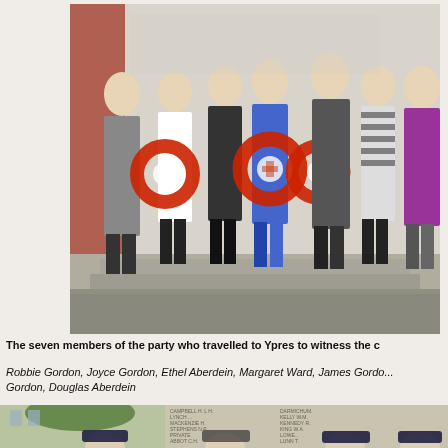[Figure (photo): Group photo of seven people standing on stone steps in front of a memorial wall. Three of the women are holding large red poppy wreaths. The group consists of elderly men and women dressed in various outfits.]
The seven members of the party who travelled to Ypres to witness the c...
Robbie Gordon, Joyce Gordon, Ethel Aberdein, Margaret Ward, James Gordo... Gordon, Douglas Aberdein
[Figure (photo): Partial photo showing several people in naval/military caps standing in front of a memorial wall with inscribed names. A tree is visible on the left.]